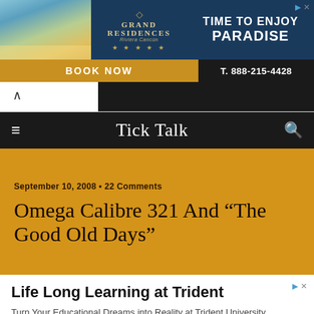[Figure (screenshot): Grand Residences advertisement banner with beach family photo, logo, TIME TO ENJOY PARADISE text, BOOK NOW button, and phone number T. 888-215-4428]
Tick Talk
Omega Calibre 321 And “The Good Old Days”
September 10, 2008 • 22 Comments
[Figure (screenshot): Advertisement for Life Long Learning at Trident. Turn Your Educational Dreams into Reality at Trident University International. Trident University Intl.]